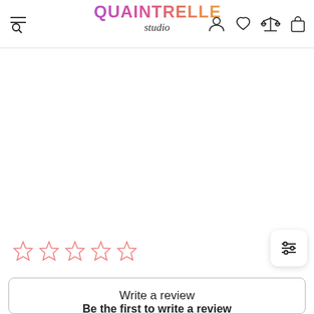[Figure (logo): Quaintrelle Studio logo with colorful gradient text and italic script subtitle]
[Figure (infographic): Five empty pink star rating icons in a row]
[Figure (other): Filter/sliders button icon in a rounded square]
Write a review
Be the first to write a review